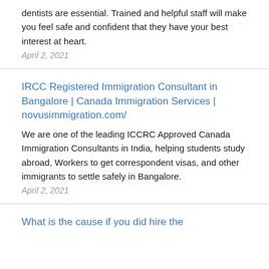dentists are essential. Trained and helpful staff will make you feel safe and confident that they have your best interest at heart.
April 2, 2021
IRCC Registered Immigration Consultant in Bangalore | Canada Immigration Services | novusimmigration.com/
We are one of the leading ICCRC Approved Canada Immigration Consultants in India, helping students study abroad, Workers to get correspondent visas, and other immigrants to settle safely in Bangalore.
April 2, 2021
What is the cause if you did hire the